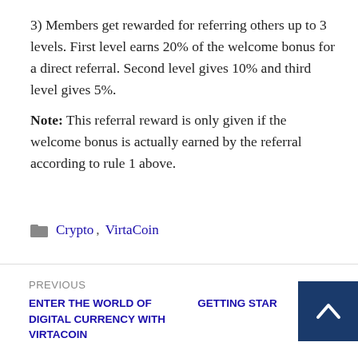3) Members get rewarded for referring others up to 3 levels. First level earns 20% of the welcome bonus for a direct referral. Second level gives 10% and third level gives 5%.
Note: This referral reward is only given if the welcome bonus is actually earned by the referral according to rule 1 above.
Crypto, VirtaCoin
PREVIOUS: ENTER THE WORLD OF DIGITAL CURRENCY WITH VIRTACOIN | NEXT: GETTING STARTED WITH [coin]